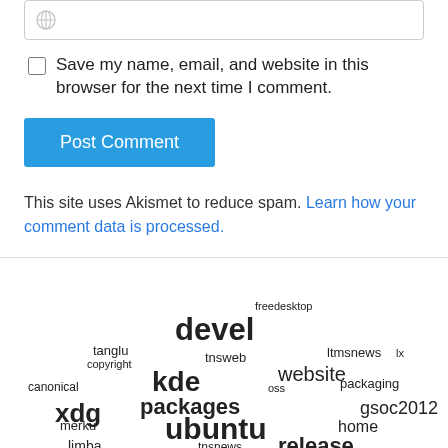[Figure (screenshot): URL/website input field with a globe icon]
Save my name, email, and website in this browser for the next time I comment.
Post Comment
This site uses Akismet to reduce spam. Learn how your comment data is processed.
[Figure (other): Tag cloud with words: freedesktop, devel, tanglu, tnsweb, ltmsnews, copyright, kde, website, lx, canonical, oss, packaging, xdg, packages, gsoc2012, merku, ubuntu, home, limba, tnsnews, release, upstream]